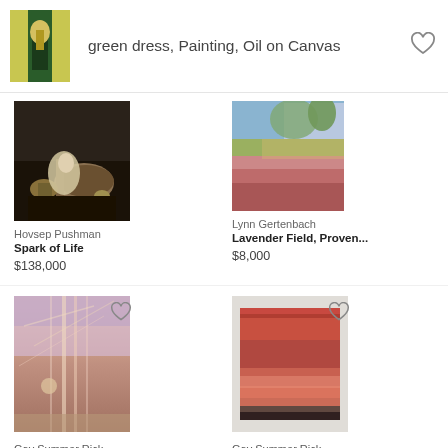[Figure (photo): Small thumbnail of a painting showing a figure in a green dress]
green dress, Painting, Oil on Canvas
[Figure (photo): Painting by Hovsep Pushman titled Spark of Life showing a horse and figure in dark tones]
Hovsep Pushman
Spark of Life
$138,000
[Figure (photo): Painting by Lynn Gertenbach titled Lavender Field, Proven... showing a lavender field landscape]
Lynn Gertenbach
Lavender Field, Proven...
$8,000
[Figure (photo): Painting by Gay Summer Rick titled Gay Summer Rick... 2018 showing abstract pinkish-orange tones with vertical structures]
Gay Summer Rick
Gay Summer Rick... 2018
[Figure (photo): Painting by Gay Summer Rick titled Stand By, 2018 showing a red/pink abstract seascape]
Gay Summer Rick
Stand By, 2018